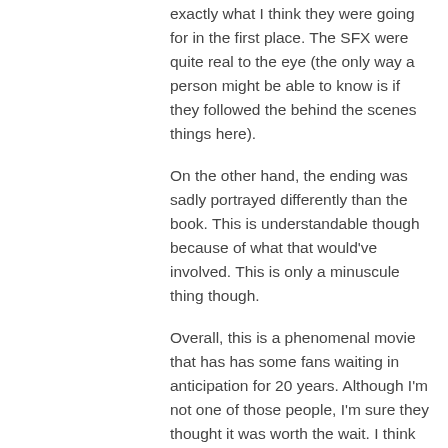exactly what I think they were going for in the first place. The SFX were quite real to the eye (the only way a person might be able to know is if they followed the behind the scenes things here).
On the other hand, the ending was sadly portrayed differently than the book. This is understandable though because of what that would've involved. This is only a minuscule thing though.
Overall, this is a phenomenal movie that has has some fans waiting in anticipation for 20 years. Although I'm not one of those people, I'm sure they thought it was worth the wait. I think Ender's game obviously deserves a 10/10.
↳ Reply
Rob Raisch on November 14, 2013 at 9:23 am
Overall, it's a fine movie but more than a bit of a let-down for die-hard fans. By stripping out *all* of the various subplots, there are many points in the film where people who have not read the book are left scratching their heads. And I think the